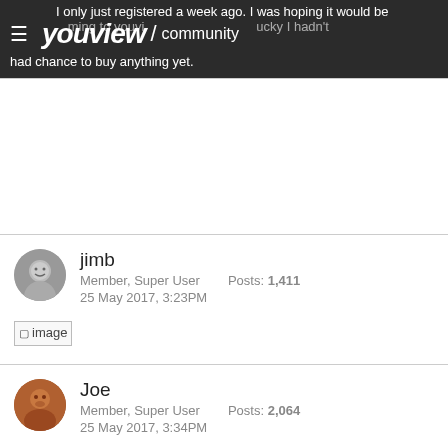YouView / community
I only just registered a week ago. I was hoping it would be coming to youview... lucky I hadn't had chance to buy anything yet.
jimb
Member, Super User   Posts: 1,411
25 May 2017, 3:23PM
[Figure (photo): Broken image placeholder labeled 'image']
Joe
Member, Super User   Posts: 2,064
25 May 2017, 3:34PM
Oh for **** **** what a dreadful shame. I guess I'll be getting a significant refund. Really sorry to hear this